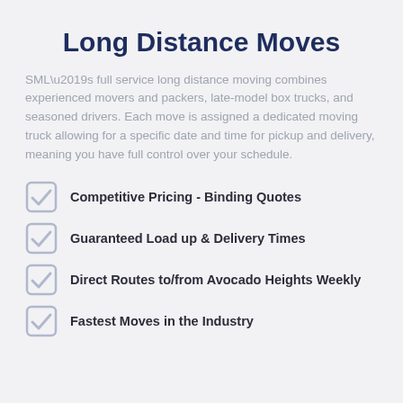Long Distance Moves
SML’s full service long distance moving combines experienced movers and packers, late-model box trucks, and seasoned drivers. Each move is assigned a dedicated moving truck allowing for a specific date and time for pickup and delivery, meaning you have full control over your schedule.
Competitive Pricing - Binding Quotes
Guaranteed Load up & Delivery Times
Direct Routes to/from Avocado Heights Weekly
Fastest Moves in the Industry